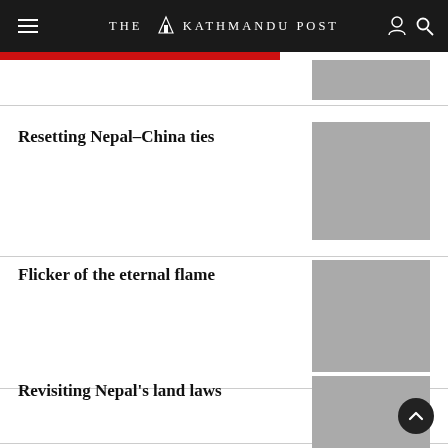THE KATHMANDU POST
Resetting Nepal–China ties
Flicker of the eternal flame
Revisiting Nepal's land laws